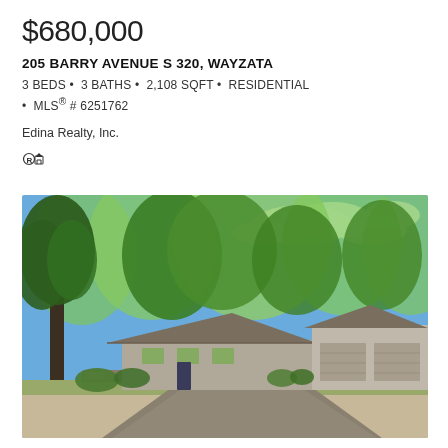$680,000
205 BARRY AVENUE S 320, WAYZATA
3 BEDS • 3 BATHS • 2,108 SQFT • RESIDENTIAL • MLS® # 6251762
Edina Realty, Inc.
[Figure (photo): Exterior photo of a single-story residential home with large garage, surrounded by lush green trees under a blue sky.]